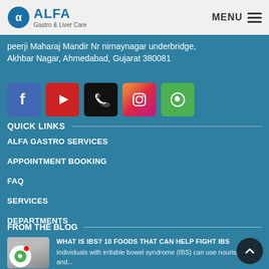ALFA Gastro & Liver Care — MENU
peerji Maharaj Mandir Nr nirnaynagar underbridge, Akhbar Nagar, Ahmedabad, Gujarat 380081
[Figure (infographic): Social media icons: Facebook, YouTube, Phone, Instagram, WhatsApp]
QUICK LINKS
ALFA GASTRO SERVICES
APPOINTMENT BOOKING
FAQ
SERVICES
DEPARTMENTS
FROM THE BLOG
WHAT IS IBS? 10 FOODS THAT CAN HELP FIGHT IBS
Individuals with irritable bowel syndrome (IBS) can use nourishment and...